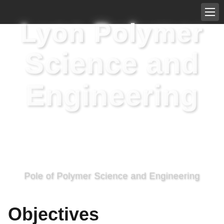Lyon Polymer Science and Engineering
Pole of Polymer Science and Engineering
Objectives